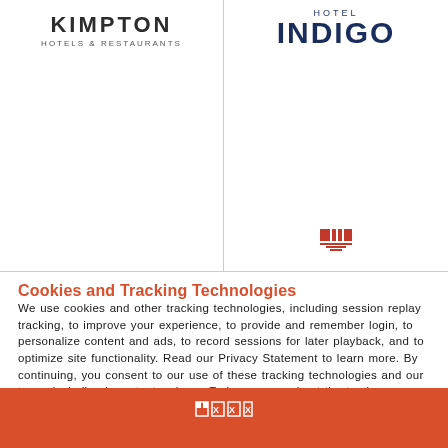[Figure (logo): Kimpton Hotels & Restaurants logo (top left)]
[Figure (logo): Hotel Indigo logo (top right) with small IHG icon at bottom]
Cookies and Tracking Technologies
We use cookies and other tracking technologies, including session replay tracking, to improve your experience, to provide and remember login, to personalize content and ads, to record sessions for later playback, and to optimize site functionality. Read our Privacy Statement to learn more. By continuing, you consent to our use of these tracking technologies and our terms including important waivers. To learn more about the trackers on our site and change your preferences, View Settings.
[Figure (other): ACCEPT button (orange/red rectangle with white bold text)]
Orange footer bar with IHG logo icon